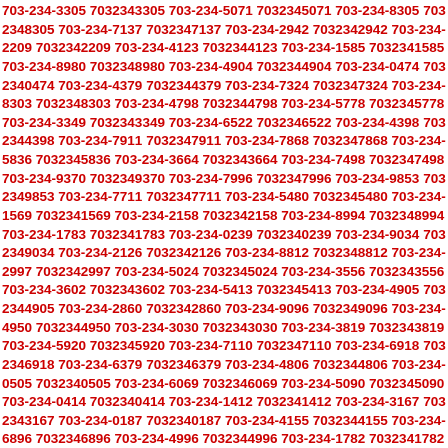703-234-3305 7032343305 703-234-5071 7032345071 703-234-8305 7032348305 703-234-7137 7032347137 703-234-2942 7032342942 703-234-2209 7032342209 703-234-4123 7032344123 703-234-1585 7032341585 703-234-8980 7032348980 703-234-4904 7032344904 703-234-0474 7032340474 703-234-4379 7032344379 703-234-7324 7032347324 703-234-8303 7032348303 703-234-4798 7032344798 703-234-5778 7032345778 703-234-3349 7032343349 703-234-6522 7032346522 703-234-4398 7032344398 703-234-7911 7032347911 703-234-7868 7032347868 703-234-5836 7032345836 703-234-3664 7032343664 703-234-7498 7032347498 703-234-9370 7032349370 703-234-7996 7032347996 703-234-9853 7032349853 703-234-7711 7032347711 703-234-5480 7032345480 703-234-1569 7032341569 703-234-2158 7032342158 703-234-8994 7032348994 703-234-1783 7032341783 703-234-0239 7032340239 703-234-9034 7032349034 703-234-2126 7032342126 703-234-8812 7032348812 703-234-2997 7032342997 703-234-5024 7032345024 703-234-3556 7032343556 703-234-3602 7032343602 703-234-5413 7032345413 703-234-4905 7032344905 703-234-2860 7032342860 703-234-9096 7032349096 703-234-4950 7032344950 703-234-3030 7032343030 703-234-3819 7032343819 703-234-5920 7032345920 703-234-7110 7032347110 703-234-6918 7032346918 703-234-6379 7032346379 703-234-4806 7032344806 703-234-0505 7032340505 703-234-6069 7032346069 703-234-5090 7032345090 703-234-0414 7032340414 703-234-1412 7032341412 703-234-3167 7032343167 703-234-0187 7032340187 703-234-4155 7032344155 703-234-6896 7032346896 703-234-4996 7032344996 703-234-1782 7032341782 703-234-3281 7032343281